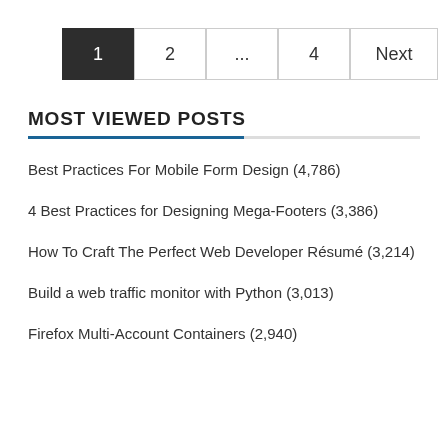1  2  ...  4  Next
MOST VIEWED POSTS
Best Practices For Mobile Form Design (4,786)
4 Best Practices for Designing Mega-Footers (3,386)
How To Craft The Perfect Web Developer Résumé (3,214)
Build a web traffic monitor with Python (3,013)
Firefox Multi-Account Containers (2,940)